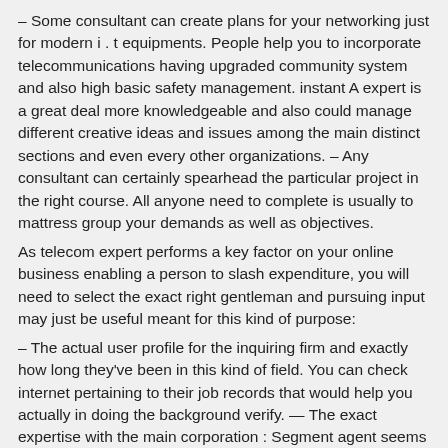– Some consultant can create plans for your networking just for modern i . t equipments. People help you to incorporate telecommunications having upgraded community system and also high basic safety management. instant A expert is a great deal more knowledgeable and also could manage different creative ideas and issues among the main distinct sections and even every other organizations. – Any consultant can certainly spearhead the particular project in the right course. All anyone need to complete is usually to mattress group your demands as well as objectives.
As telecom expert performs a key factor on your online business enabling a person to slash expenditure, you will need to select the exact right gentleman and pursuing input may just be useful meant for this kind of purpose:
– The actual user profile for the inquiring firm and exactly how long they've been in this kind of field. You can check internet pertaining to their job records that would help you actually in doing the background verify. — The exact expertise with the main corporation : Segment agent seems to have its personal volume of expertise. Quite a few may have a wider spectrum and may cost appropriately; so it's ideal to consider what area of segment you need to help have. This can help you actually save with cost in the event you will participate in concern